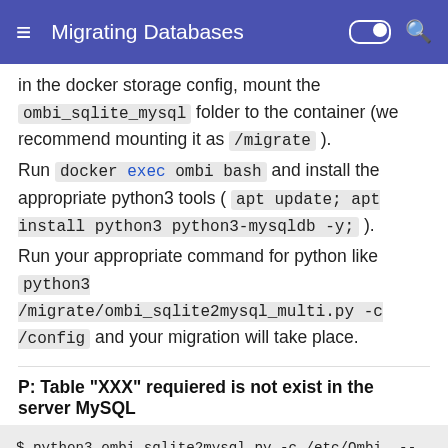Migrating Databases
in the docker storage config, mount the ombi_sqlite_mysql folder to the container (we recommend mounting it as /migrate ).
Run docker exec ombi bash and install the appropriate python3 tools ( apt update; apt install python3 python3-mysqldb -y; ).
Run your appropriate command for python like python3 /migrate/ombi_sqlite2mysql_multi.py -c /config and your migration will take place.
P: Table "XXX" requiered is not exist in the server MySQL
$ python3 ombi_sqlite2mysql.py -c /etc/Ombi  --host 12
Migration tool from SQLite to MySql/MariaDB for ombi (

Generate file "database.json":
  Saving in /etc/Ombi/database.json) [<]